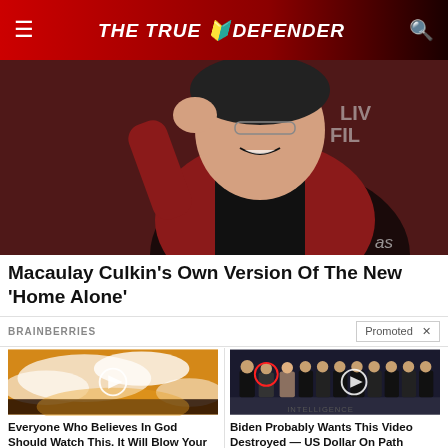THE TRUE DEFENDER
[Figure (photo): Man in red blazer and black shirt at film event, smiling and touching his head]
Macaulay Culkin's Own Version Of The New 'Home Alone'
BRAINBERRIES
Promoted X
[Figure (photo): Aerial view of clouds with play button overlay]
Everyone Who Believes In God Should Watch This. It Will Blow Your Mind
28,423
[Figure (photo): Group of men in suits at CIA with red circle highlight and play button overlay]
Biden Probably Wants This Video Destroyed — US Dollar On Path Towards Replacement?
596,187